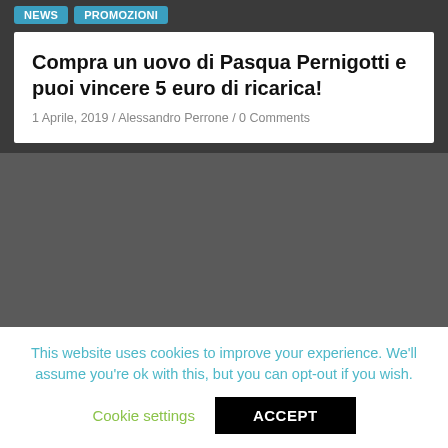NEWS  PROMOZIONI
Compra un uovo di Pasqua Pernigotti e puoi vincere 5 euro di ricarica!
1 Aprile, 2019 / Alessandro Perrone / 0 Comments
[Figure (photo): Gray placeholder image area for article photo]
This website uses cookies to improve your experience. We'll assume you're ok with this, but you can opt-out if you wish.
Cookie settings  ACCEPT